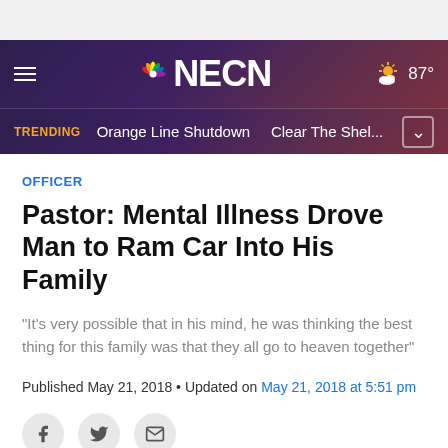NECN — 87°, Trending: Orange Line Shutdown, Clear The Shel...
OFFICER
Pastor: Mental Illness Drove Man to Ram Car Into His Family
"It's very possible that in his mind, he was thinking the best thing for this family was that they all go to heaven together"
Published May 21, 2018 • Updated on May 21, 2018 at 5:51 pm